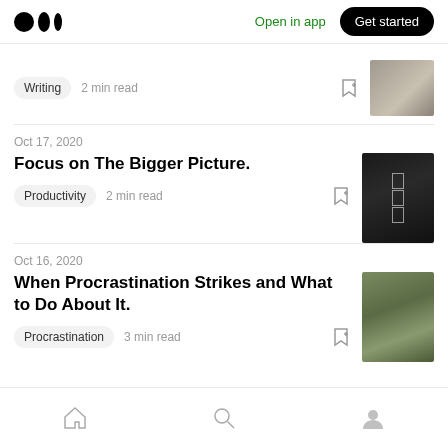Medium logo | Open in app | Get started
Writing  2 min read
Oct 17, 2020
Focus on The Bigger Picture.
Productivity  2 min read
Oct 16, 2020
When Procrastination Strikes and What to Do About It.
Procrastination  3 min read
Home | Search | Profile